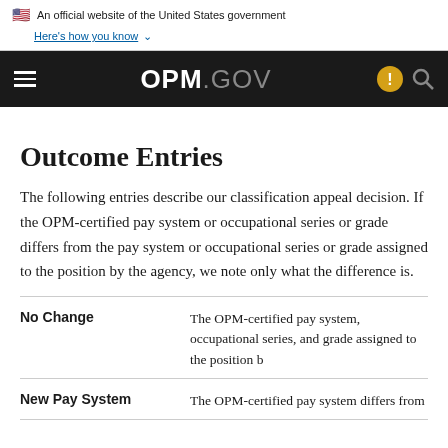An official website of the United States government
Here's how you know
[Figure (screenshot): OPM.GOV navigation bar with hamburger menu, OPM.GOV logo, alert icon, and search icon on dark background]
Outcome Entries
The following entries describe our classification appeal decision. If the OPM-certified pay system or occupational series or grade differs from the pay system or occupational series or grade assigned to the position by the agency, we note only what the difference is.
| Term | Description |
| --- | --- |
| No Change | The OPM-certified pay system, occupational series, and grade assigned to the position b... |
| New Pay System | The OPM-certified pay system differs from... |